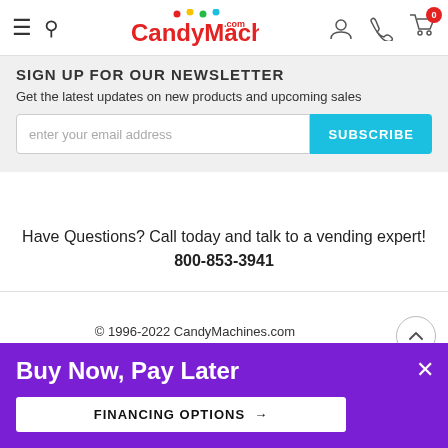CandyMachines.com header with hamburger menu, search, logo, user icon, phone icon, cart (0)
SIGN UP FOR OUR NEWSLETTER
Get the latest updates on new products and upcoming sales
enter your email address | SUBSCRIBE
Have Questions? Call today and talk to a vending expert! 800-853-3941
© 1996-2022 CandyMachines.com
419-115-084
Buy Now, Pay Later
FINANCING OPTIONS →